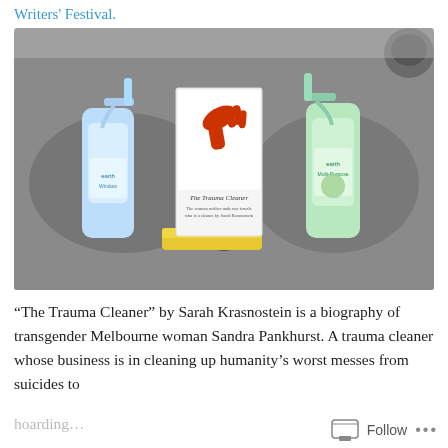Writers' Festival.
[Figure (photo): A kitchen sink containing two 'earth' brand cleaning spray bottles (Window and Multi-Purpose), a yellow sponge, and a white book titled 'The Trauma Cleaner' by Sarah Krasnostein, which has a red rubber glove on its cover.]
“The Trauma Cleaner” by Sarah Krasnostein is a biography of transgender Melbourne woman Sandra Pankhurst. A trauma cleaner whose business is in cleaning up humanity’s worst messes from suicides to